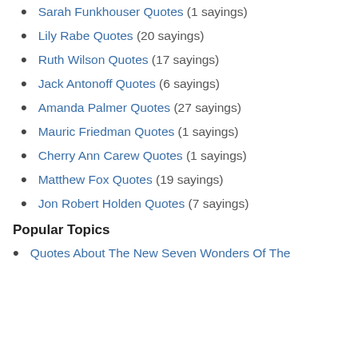Sarah Funkhouser Quotes (1 sayings)
Lily Rabe Quotes (20 sayings)
Ruth Wilson Quotes (17 sayings)
Jack Antonoff Quotes (6 sayings)
Amanda Palmer Quotes (27 sayings)
Mauric Friedman Quotes (1 sayings)
Cherry Ann Carew Quotes (1 sayings)
Matthew Fox Quotes (19 sayings)
Jon Robert Holden Quotes (7 sayings)
Popular Topics
Quotes About The New Seven Wonders Of The…